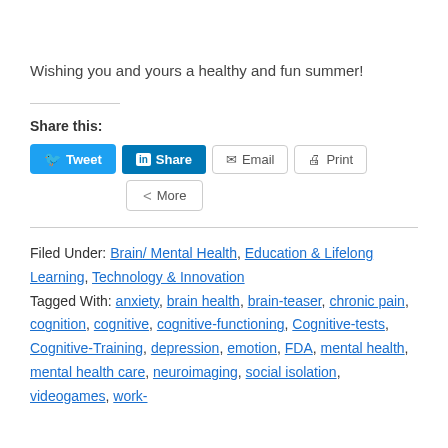Wishing you and yours a healthy and fun summer!
Share this:
Tweet | Share | Email | Print | More
Filed Under: Brain/ Mental Health, Education & Lifelong Learning, Technology & Innovation
Tagged With: anxiety, brain health, brain-teaser, chronic pain, cognition, cognitive, cognitive-functioning, Cognitive-tests, Cognitive-Training, depression, emotion, FDA, mental health, mental health care, neuroimaging, social isolation, videogames, work-